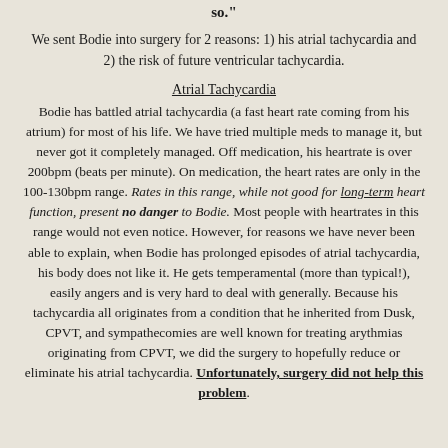so."
We sent Bodie into surgery for 2 reasons: 1) his atrial tachycardia and 2) the risk of future ventricular tachycardia.
Atrial Tachycardia
Bodie has battled atrial tachycardia (a fast heart rate coming from his atrium) for most of his life. We have tried multiple meds to manage it, but never got it completely managed. Off medication, his heartrate is over 200bpm (beats per minute). On medication, the heart rates are only in the 100-130bpm range. Rates in this range, while not good for long-term heart function, present no danger to Bodie. Most people with heartrates in this range would not even notice. However, for reasons we have never been able to explain, when Bodie has prolonged episodes of atrial tachycardia, his body does not like it. He gets temperamental (more than typical!), easily angers and is very hard to deal with generally. Because his tachycardia all originates from a condition that he inherited from Dusk, CPVT, and sympathecomies are well known for treating arythmias originating from CPVT, we did the surgery to hopefully reduce or eliminate his atrial tachycardia. Unfortunately, surgery did not help this problem.